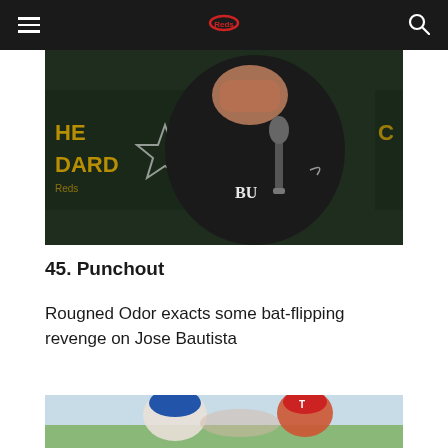navigation bar with hamburger menu, logo, and search icon
[Figure (photo): A man in a black Baylor University (BU) Nike jacket covering his face with his hand, standing at a podium with a microphone, in front of a banner reading 'THE STANDARD']
45. Punchout
Rougned Odor exacts some bat-flipping revenge on Jose Bautista
[Figure (photo): Baseball players in action, one wearing a blue Toronto Blue Jays helmet and another wearing a red Texas Rangers cap, appearing to be in an altercation or close play]